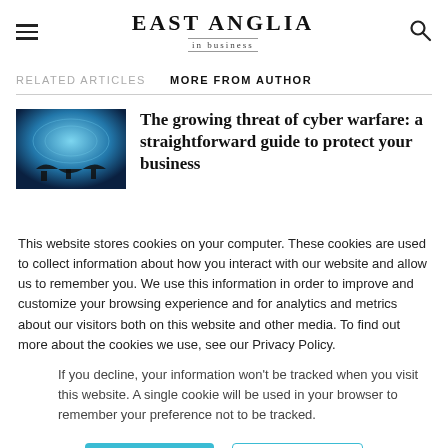EAST ANGLIA in business
RELATED ARTICLES   MORE FROM AUTHOR
[Figure (photo): Cyber warfare themed image: soldiers silhouetted against blue world map background]
The growing threat of cyber warfare: a straightforward guide to protect your business
This website stores cookies on your computer. These cookies are used to collect information about how you interact with our website and allow us to remember you. We use this information in order to improve and customize your browsing experience and for analytics and metrics about our visitors both on this website and other media. To find out more about the cookies we use, see our Privacy Policy.
If you decline, your information won't be tracked when you visit this website. A single cookie will be used in your browser to remember your preference not to be tracked.